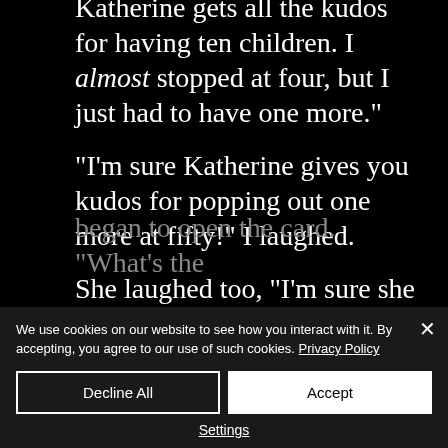children much earlier than we did. Katherine gets all the kudos for having ten children. I almost stopped at four, but I just had to have one more."
"I'm sure Katherine gives you kudos for popping out one more at fifty!" I laughed.
She laughed too, "I'm sure she does." I began to open the card. "What's the
We use cookies on our website to see how you interact with it. By accepting, you agree to our use of such cookies. Privacy Policy
Decline All
Accept
Settings